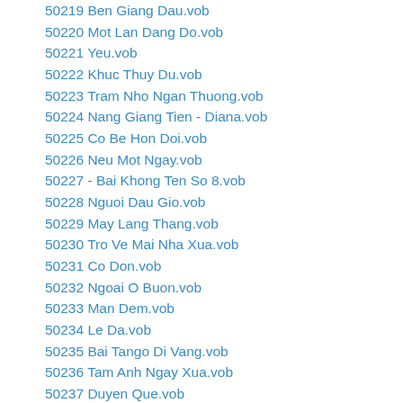50219 Ben Giang Dau.vob
50220 Mot Lan Dang Do.vob
50221 Yeu.vob
50222 Khuc Thuy Du.vob
50223 Tram Nho Ngan Thuong.vob
50224 Nang Giang Tien - Diana.vob
50225 Co Be Hon Doi.vob
50226 Neu Mot Ngay.vob
50227 - Bai Khong Ten So 8.vob
50228 Nguoi Dau Gio.vob
50229 May Lang Thang.vob
50230 Tro Ve Mai Nha Xua.vob
50231 Co Don.vob
50232 Ngoai O Buon.vob
50233 Man Dem.vob
50234 Le Da.vob
50235 Bai Tango Di Vang.vob
50236 Tam Anh Ngay Xua.vob
50237 Duyen Que.vob
50238 Boulevard.vob
50239 Niem Thuong Nho.vob
50240 Bai Khong Ten So 2.vob
50241 Tinh Dau Tinh Cuoi.vob